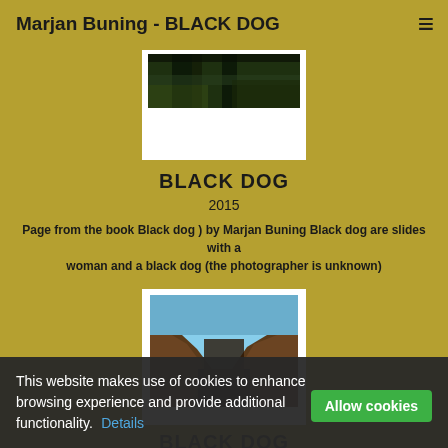Marjan Buning - BLACK DOG
[Figure (photo): Photograph showing a dark forest scene, wide panoramic crop, mounted in a white frame]
BLACK DOG
2015
Page from the book Black dog ) by Marjan Buning Black dog are slides with a woman and a black dog (the photographer is unknown)
[Figure (photo): Photograph showing a rocky canyon landscape with blue sky, mounted in a white frame]
BLACK DOG
2015
This website makes use of cookies to enhance browsing experience and provide additional functionality. Details Allow cookies